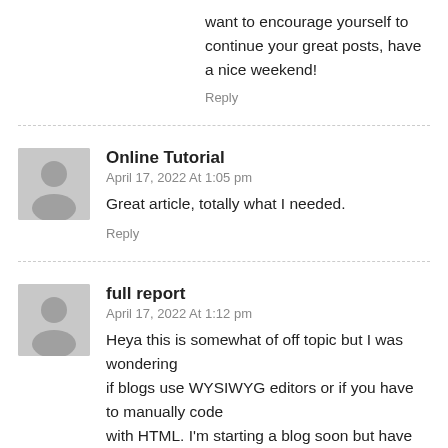want to encourage yourself to continue your great posts, have a nice weekend!
Reply
Online Tutorial
April 17, 2022 At 1:05 pm
Great article, totally what I needed.
Reply
full report
April 17, 2022 At 1:12 pm
Heya this is somewhat of off topic but I was wondering if blogs use WYSIWYG editors or if you have to manually code with HTML. I'm starting a blog soon but have no coding knowledge so I wanted to get guidance from someone with experience.